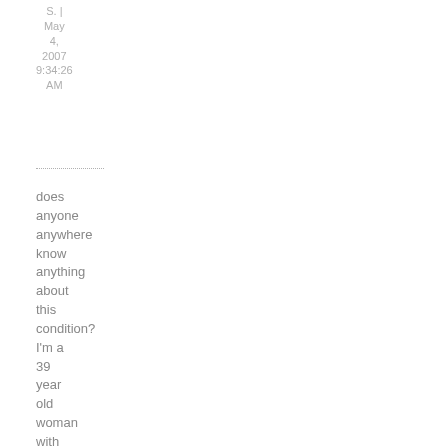S. | May 4, 2007 9:34:26 AM
does anyone anywhere know anything about this condition? I'm a 39 year old woman with two daughters aged 17 AND 12.i first found out i had